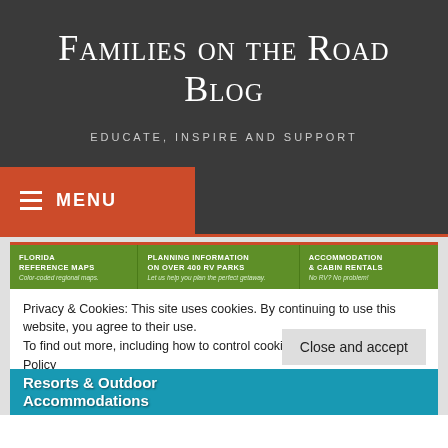Families on the Road Blog
EDUCATE, INSPIRE AND SUPPORT
☰ MENU
[Figure (infographic): Green banner with three columns: FLORIDA REFERENCE MAPS (Color-coded regional maps.), PLANNING INFORMATION ON OVER 400 RV PARKS (Let us help you plan the perfect getaway.), ACCOMMODATION & CABIN RENTALS (No RV? No problem!)]
Privacy & Cookies: This site uses cookies. By continuing to use this website, you agree to their use.
To find out more, including how to control cookies, see here: Cookie Policy
Close and accept
Resorts & Outdoor Accommodations